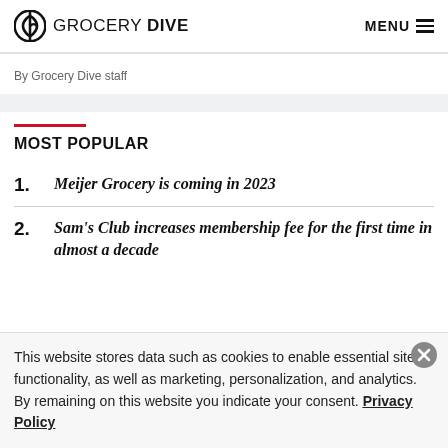GROCERY DIVE  MENU
By Grocery Dive staff
MOST POPULAR
1. Meijer Grocery is coming in 2023
2. Sam's Club increases membership fee for the first time in almost a decade
This website stores data such as cookies to enable essential site functionality, as well as marketing, personalization, and analytics. By remaining on this website you indicate your consent. Privacy Policy